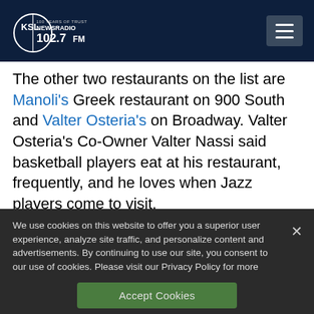KSL NewsRadio 102.7 FM
The other two restaurants on the list are Manoli's Greek restaurant on 900 South and Valter Osteria's on Broadway. Valter Osteria's Co-Owner Valter Nassi said basketball players eat at his restaurant, frequently, and he loves when Jazz players come to visit.
We use cookies on this website to offer you a superior user experience, analyze site traffic, and personalize content and advertisements. By continuing to use our site, you consent to our use of cookies. Please visit our Privacy Policy for more information.
Accept Cookies